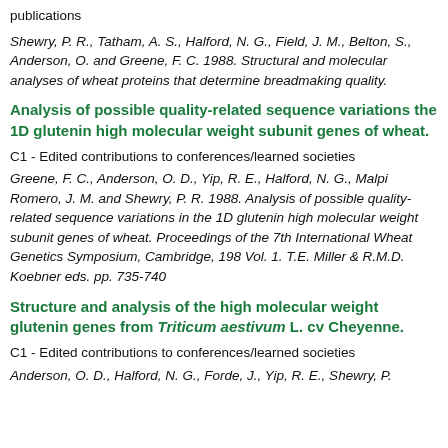publications
Shewry, P. R., Tatham, A. S., Halford, N. G., Field, J. M., Belton, S., Anderson, O. and Greene, F. C. 1988. Structural and molecular analyses of wheat proteins that determine breadmaking quality.
Analysis of possible quality-related sequence variations the 1D glutenin high molecular weight subunit genes of wheat.
C1 - Edited contributions to conferences/learned societies
Greene, F. C., Anderson, O. D., Yip, R. E., Halford, N. G., Malpi Romero, J. M. and Shewry, P. R. 1988. Analysis of possible quality-related sequence variations in the 1D glutenin high molecular weight subunit genes of wheat. Proceedings of the 7th International Wheat Genetics Symposium, Cambridge, 198 Vol. 1. T.E. Miller & R.M.D. Koebner eds. pp. 735-740
Structure and analysis of the high molecular weight glutenin genes from Triticum aestivum L. cv Cheyenne.
C1 - Edited contributions to conferences/learned societies
Anderson, O. D., Halford, N. G., Forde, J., Yip, R. E., Shewry, P.